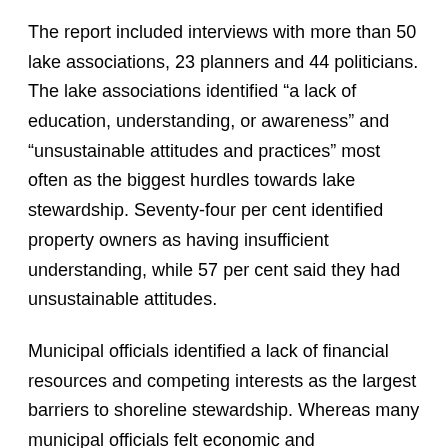The report included interviews with more than 50 lake associations, 23 planners and 44 politicians. The lake associations identified “a lack of education, understanding, or awareness” and “unsustainable attitudes and practices” most often as the biggest hurdles towards lake stewardship. Seventy-four per cent identified property owners as having insufficient understanding, while 57 per cent said they had unsustainable attitudes.
Municipal officials identified a lack of financial resources and competing interests as the largest barriers to shoreline stewardship. Whereas many municipal officials felt economic and environmental interests were equal in land-use decisions (42 per cent), 56 per cent of planners felt municipalities were favouring economic interests.
Watersheds Canada executive director Barbara King said